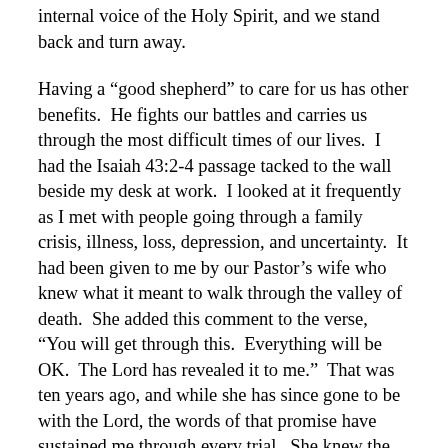internal voice of the Holy Spirit, and we stand back and turn away.
Having a “good shepherd” to care for us has other benefits.  He fights our battles and carries us through the most difficult times of our lives.  I had the Isaiah 43:2-4 passage tacked to the wall beside my desk at work.  I looked at it frequently as I met with people going through a family crisis, illness, loss, depression, and uncertainty.  It had been given to me by our Pastor’s wife who knew what it meant to walk through the valley of death.  She added this comment to the verse, “You will get through this.  Everything will be OK.  The Lord has revealed it to me.”  That was ten years ago, and while she has since gone to be with the Lord, the words of that promise have sustained me through every trial.  She knew the shepherd’s voice and He gave her eternal life.  She passed that blessing on to me.